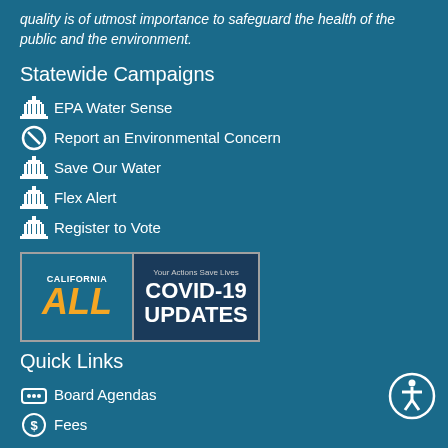quality is of utmost importance to safeguard the health of the public and the environment.
Statewide Campaigns
EPA Water Sense
Report an Environmental Concern
Save Our Water
Flex Alert
Register to Vote
[Figure (logo): California ALL - Your Actions Save Lives COVID-19 UPDATES banner]
Quick Links
Board Agendas
Fees
Make a Payment